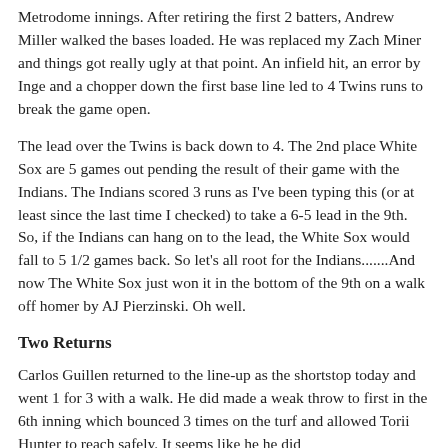Metrodome innings. After retiring the first 2 batters, Andrew Miller walked the bases loaded. He was replaced my Zach Miner and things got really ugly at that point. An infield hit, an error by Inge and a chopper down the first base line led to 4 Twins runs to break the game open.
The lead over the Twins is back down to 4. The 2nd place White Sox are 5 games out pending the result of their game with the Indians. The Indians scored 3 runs as I've been typing this (or at least since the last time I checked) to take a 6-5 lead in the 9th. So, if the Indians can hang on to the lead, the White Sox would fall to 5 1/2 games back. So let's all root for the Indians.......And now The White Sox just won it in the bottom of the 9th on a walk off homer by AJ Pierzinski. Oh well.
Two Returns
Carlos Guillen returned to the line-up as the shortstop today and went 1 for 3 with a walk. He did made a weak throw to first in the 6th inning which bounced 3 times on the turf and allowed Torii Hunter to reach safely. It seems like he he did